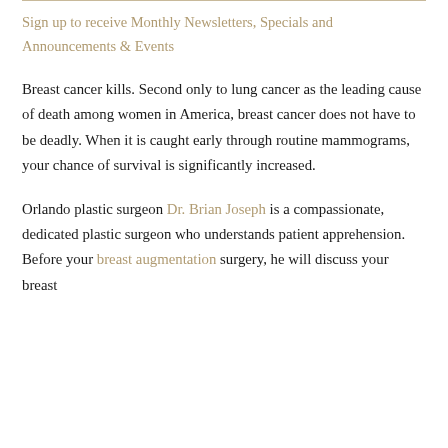Sign up to receive Monthly Newsletters, Specials and Announcements & Events
Breast cancer kills. Second only to lung cancer as the leading cause of death among women in America, breast cancer does not have to be deadly. When it is caught early through routine mammograms, your chance of survival is significantly increased.
Orlando plastic surgeon Dr. Brian Joseph is a compassionate, dedicated plastic surgeon who understands patient apprehension. Before your breast augmentation surgery, he will discuss your breast